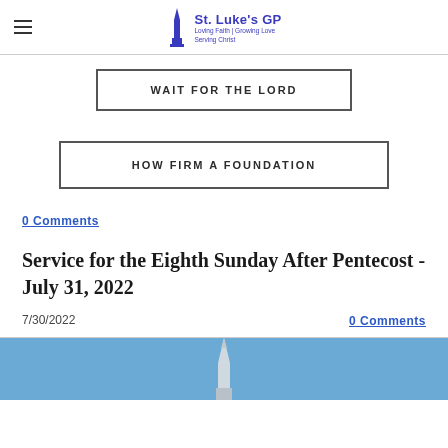St. Luke's GP — Loving Faith | Growing Love | Serving Christ
WAIT FOR THE LORD
HOW FIRM A FOUNDATION
0 Comments
Service for the Eighth Sunday After Pentecost - July 31, 2022
7/30/2022
0 Comments
[Figure (photo): Church steeple against blue sky]